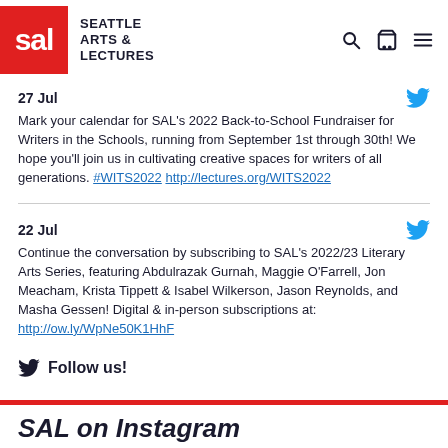SAL — Seattle Arts & Lectures
27 Jul
Mark your calendar for SAL's 2022 Back-to-School Fundraiser for Writers in the Schools, running from September 1st through 30th! We hope you'll join us in cultivating creative spaces for writers of all generations. #WITS2022 http://lectures.org/WITS2022
22 Jul
Continue the conversation by subscribing to SAL's 2022/23 Literary Arts Series, featuring Abdulrazak Gurnah, Maggie O'Farrell, Jon Meacham, Krista Tippett & Isabel Wilkerson, Jason Reynolds, and Masha Gessen! Digital & in-person subscriptions at: http://ow.ly/WpNe50K1HhF
Follow us!
SAL on Instagram